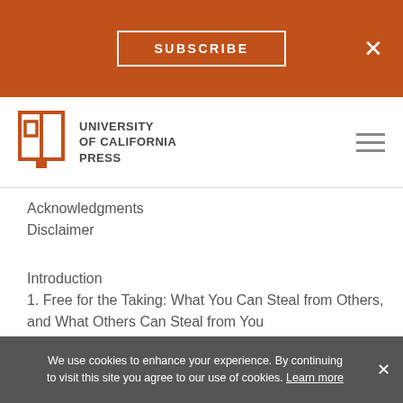SUBSCRIBE
[Figure (logo): University of California Press logo with open book icon]
Acknowledgments
Disclaimer
Introduction
1. Free for the Taking: What You Can Steal from Others, and What Others Can Steal from You
2. Clearance Required: What You Do Need Permission to Use
3. Collaboration
4. Selling to Others and Implied-in-Fact Contracts
5. Copyright Infringement
We use cookies to enhance your experience. By continuing to visit this site you agree to our use of cookies. Learn more